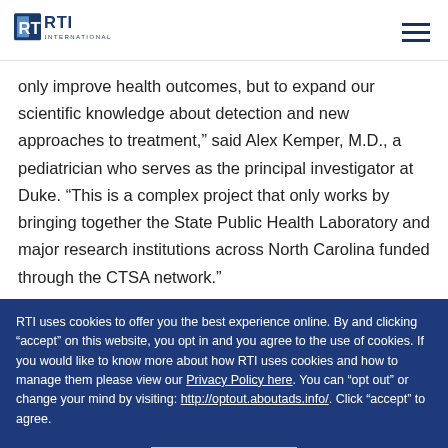RTI International
only improve health outcomes, but to expand our scientific knowledge about detection and new approaches to treatment,” said Alex Kemper, M.D., a pediatrician who serves as the principal investigator at Duke. “This is a complex project that only works by bringing together the State Public Health Laboratory and major research institutions across North Carolina funded through the CTSA network.”
RTI uses cookies to offer you the best experience online. By and clicking “accept” on this website, you opt in and you agree to the use of cookies. If you would like to know more about how RTI uses cookies and how to manage them please view our Privacy Policy here. You can “opt out” or change your mind by visiting: http://optout.aboutads.info/. Click “accept” to agree.
ACCEPT